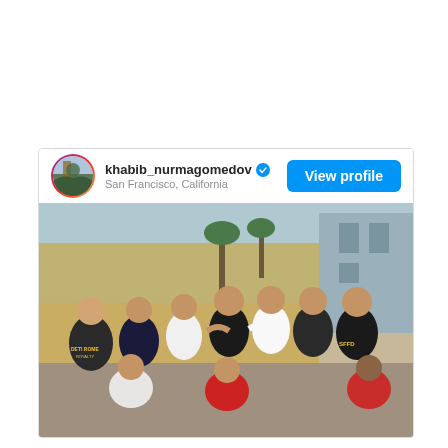[Figure (screenshot): Instagram post card from khabib_nurmagomedov showing username with blue verified checkmark, location 'San Francisco, California', a 'View profile' blue button, and a group photo of approximately 9-10 men posing together outdoors, some wearing hoodies and casual clothes including ones that say 'DETI ROME ROYALTY' and 'SFFD']